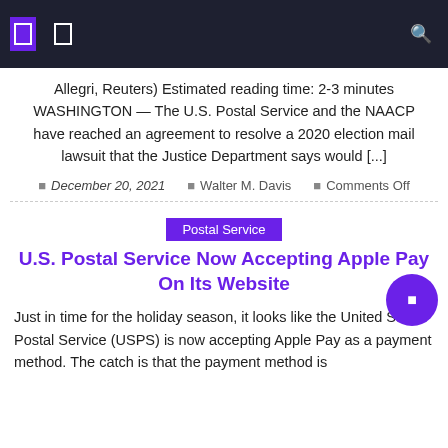Navigation bar with icons
Allegri, Reuters) Estimated reading time: 2-3 minutes WASHINGTON — The U.S. Postal Service and the NAACP have reached an agreement to resolve a 2020 election mail lawsuit that the Justice Department says would [...]
December 20, 2021  Walter M. Davis  Comments Off
Postal Service
U.S. Postal Service Now Accepting Apple Pay On Its Website
Just in time for the holiday season, it looks like the United States Postal Service (USPS) is now accepting Apple Pay as a payment method. The catch is that the payment method is